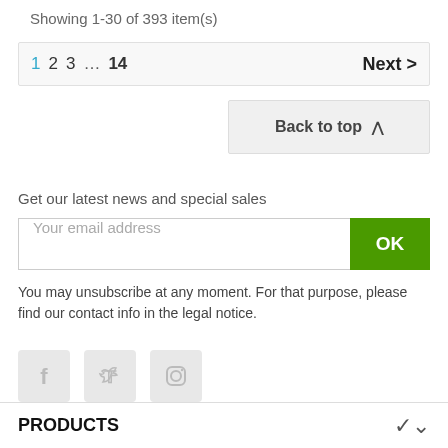Showing 1-30 of 393 item(s)
1 2 3 … 14  Next >
Back to top ^
Get our latest news and special sales
Your email address
OK
You may unsubscribe at any moment. For that purpose, please find our contact info in the legal notice.
[Figure (other): Social media icons: Facebook, Twitter, Instagram]
PRODUCTS